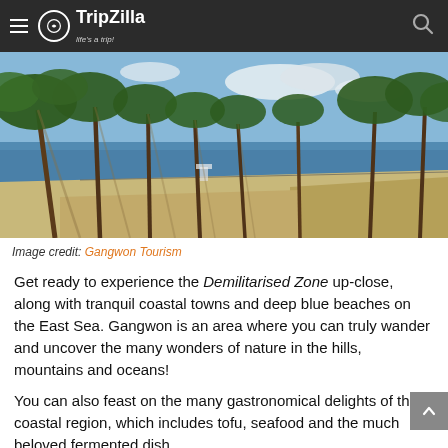TripZilla — life's a trip!
[Figure (photo): Beach scene with tall pine trees in the foreground, sandy path, and calm blue sea in the background under a partly cloudy sky.]
Image credit: Gangwon Tourism
Get ready to experience the Demilitarised Zone up-close, along with tranquil coastal towns and deep blue beaches on the East Sea. Gangwon is an area where you can truly wander and uncover the many wonders of nature in the hills, mountains and oceans!
You can also feast on the many gastronomical delights of the coastal region, which includes tofu, seafood and the much beloved fermented dish...